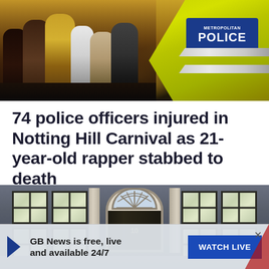[Figure (photo): Crowd at Notting Hill Carnival with a Metropolitan Police officer in yellow hi-vis jacket visible on the right]
74 police officers injured in Notting Hill Carnival as 21-year-old rapper stabbed to death
[Figure (photo): 10 Downing Street exterior showing the famous black door with fanlight, flanked by windows and pilasters]
GB News is free, live and available 24/7